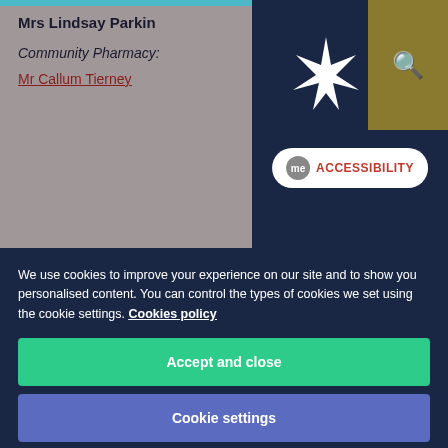Mrs Lindsay Parkin
Community Pharmacy:
Mr Callum Tierney
The Helen McArdle Nursing and Care Research Institute offers lectures, podcasts and webinars to highlight the work of the Institute, and our collaborations with partner organisations, providing
We use cookies to improve your experience on our site and to show you personalised content. You can control the types of cookies we set using the cookie settings. Cookies policy
Accept and close
Cookie settings